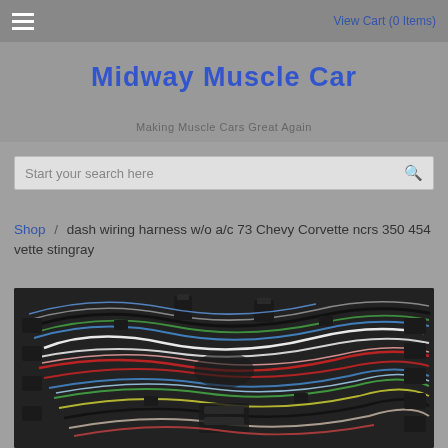≡   View Cart (0 Items)
Midway Muscle Car
Making Muscle Cars Great Again
Start your search here
Shop / dash wiring harness w/o a/c 73 Chevy Corvette ncrs 350 454 vette stingray
[Figure (photo): Photo of a complex automotive dash wiring harness bundle with multiple colored wires and black connectors]